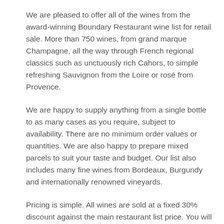We are pleased to offer all of the wines from the award-winning Boundary Restaurant wine list for retail sale. More than 750 wines, from grand marque Champagne, all the way through French regional classics such as unctuously rich Cahors, to simple refreshing Sauvignon from the Loire or rosé from Provence.
We are happy to supply anything from a single bottle to as many cases as you require, subject to availability. There are no minimum order values or quantities. We are also happy to prepare mixed parcels to suit your taste and budget. Our list also includes many fine wines from Bordeaux, Burgundy and internationally renowned vineyards.
Pricing is simple. All wines are sold at a fixed 30% discount against the main restaurant list price. You will appreciate that many of the wines are unavailable to the general public, and all of the wines